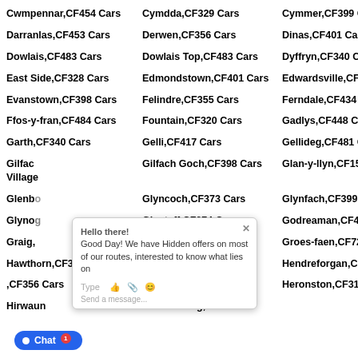Cwmpennar,CF454 Cars
Cymdda,CF329 Cars
Cymmer,CF399 Cars
Darranlas,CF453 Cars
Derwen,CF356 Cars
Dinas,CF401 Cars
Dowlais,CF483 Cars
Dowlais Top,CF483 Cars
Dyffryn,CF340 Cars
East Side,CF328 Cars
Edmondstown,CF401 Cars
Edwardsville,CF465 Cars
Evanstown,CF398 Cars
Felindre,CF355 Cars
Ferndale,CF434 Cars
Ffos-y-fran,CF484 Cars
Fountain,CF320 Cars
Gadlys,CF448 Cars
Garth,CF340 Cars
Gelli,CF417 Cars
Gellideg,CF481 Cars
Gilfach Village Cars
Gilfach Goch,CF398 Cars
Glan-y-llyn,CF157 Cars
Glenboig Cars
Glyncoch,CF373 Cars
Glynfach,CF399 Cars
Glynog Cars
Glyntaff,CF374 Cars
Godreaman,CF446 Cars
Graig Cars
Graigwen,CF372 Cars
Groes-faen,CF728 Cars
Hawthorn,CF373 Cars
Hendre,CF356 Cars
Hendreforgan,CF398 Cars
CF356 Cars
Hernston,CF313 Cars
Heronston,CF313 Cars
Hirwaun
Hoel-laethog,CF329